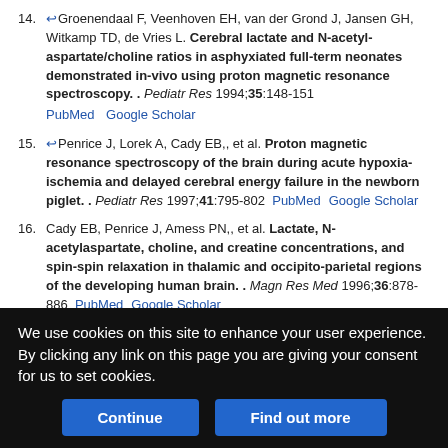14. Groenendaal F, Veenhoven EH, van der Grond J, Jansen GH, Witkamp TD, de Vries L. Cerebral lactate and N-acetyl-aspartate/choline ratios in asphyxiated full-term neonates demonstrated in-vivo using proton magnetic resonance spectroscopy. . Pediatr Res 1994;35:148-151 PubMed Google Scholar
15. Penrice J, Lorek A, Cady EB,, et al. Proton magnetic resonance spectroscopy of the brain during acute hypoxia-ischemia and delayed cerebral energy failure in the newborn piglet. . Pediatr Res 1997;41:795-802 PubMed Google Scholar
16. Cady EB, Penrice J, Amess PN,, et al. Lactate, N-acetylaspartate, choline, and creatine concentrations, and spin-spin relaxation in thalamic and occipito-parietal regions of the developing human brain. . Magn Res Med 1996;36:878-886 PubMed Google Scholar
We use cookies on this site to enhance your user experience. By clicking any link on this page you are giving your consent for us to set cookies.